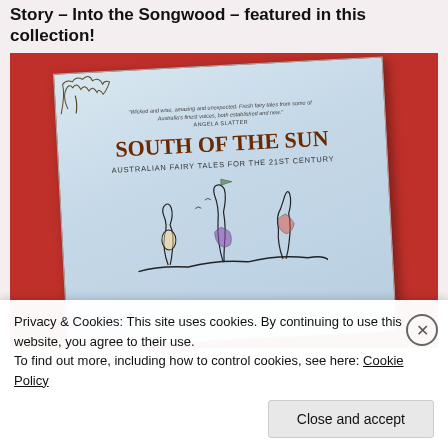Story – Into the Songwood – featured in this collection!
[Figure (photo): Photo of a book titled 'South of the Sun – Australian Fairy Tales for the 21st Century' placed on a red surface. The book cover features a quote by Angela Slatter, the bold title 'SOUTH OF THE SUN', subtitle 'AUSTRALIAN FAIRY TALES FOR THE 21ST CENTURY', and a whimsical ink illustration of fantasy figures.]
Privacy & Cookies: This site uses cookies. By continuing to use this website, you agree to their use.
To find out more, including how to control cookies, see here: Cookie Policy
Close and accept